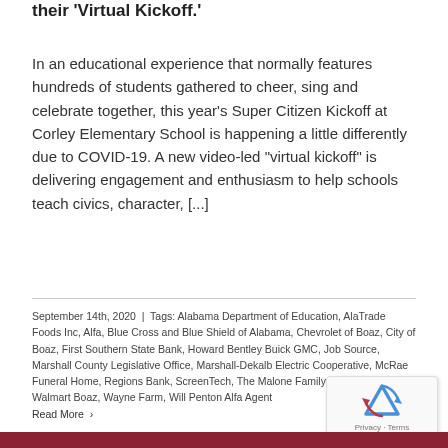their 'Virtual Kickoff.'
In an educational experience that normally features hundreds of students gathered to cheer, sing and celebrate together, this year's Super Citizen Kickoff at Corley Elementary School is happening a little differently due to COVID-19. A new video-led "virtual kickoff" is delivering engagement and enthusiasm to help schools teach civics, character, [...]
September 14th, 2020 | Tags: Alabama Department of Education, AlaTrade Foods Inc, Alfa, Blue Cross and Blue Shield of Alabama, Chevrolet of Boaz, City of Boaz, First Southern State Bank, Howard Bentley Buick GMC, Job Source, Marshall County Legislative Office, Marshall-Dekalb Electric Cooperative, McRae Funeral Home, Regions Bank, ScreenTech, The Malone Family Foundation, Walmart Boaz, Wayne Farm, Will Penton Alfa Agent Read More ›